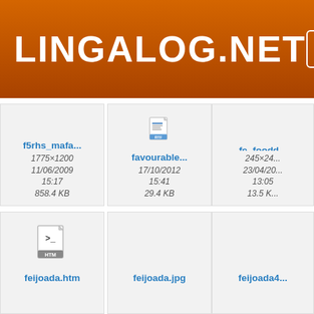LINGALOG.NET
[Figure (screenshot): File browser grid showing file thumbnails with names, dimensions, dates, and sizes. Row 1: f5rhs_mafa... (1775×1200, 11/06/2009 15:17, 858.4 KB), favourable... with RTF icon (17/10/2012 15:41, 29.4 KB), fe_foodd... (245×24..., 23/04/20... 13:05, 13.5 K...). Row 2: feijoada.htm with HTM icon, feijoada.jpg, feijoada4...]